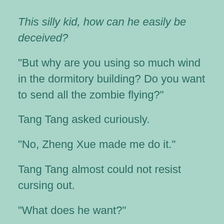This silly kid, how can he easily be deceived?
“But why are you using so much wind in the dormitory building? Do you want to send all the zombie flying?”
Tang Tang asked curiously.
“No, Zheng Xue made me do it.”
Tang Tang almost could not resist cursing out.
“What does he want?”
She hold back her anger, it was time to collect information so she must hold back.
“I don’t know, I didn’t ask.”